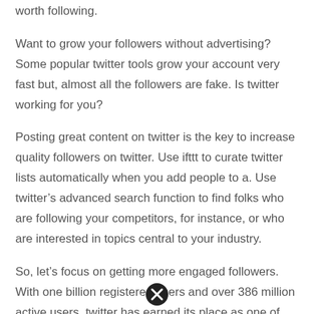worth following.
Want to grow your followers without advertising? Some popular twitter tools grow your account very fast but, almost all the followers are fake. Is twitter working for you?
Posting great content on twitter is the key to increase quality followers on twitter. Use ifttt to curate twitter lists automatically when you add people to a. Use twitter’s advanced search function to find folks who are following your competitors, for instance, or who are interested in topics central to your industry.
So, let’s focus on getting more engaged followers. With one billion registered users and over 386 million active users, twitter has earned its place as one of the best platforms for building and connecting with large audiences. In december 2017, i had 30k followers.
[Figure (other): A close/cancel button icon — a black circle with an X in the center]